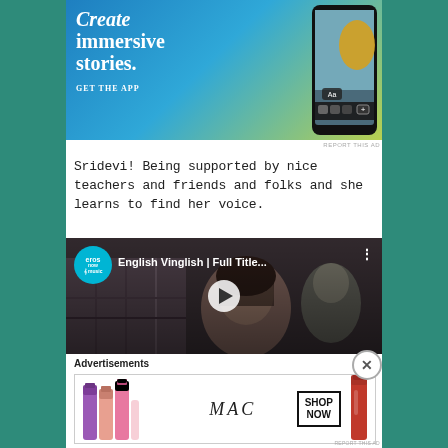[Figure (photo): Advertisement banner with blue-to-yellow gradient background showing 'Create immersive stories.' text and a phone with 'GET THE APP' call to action]
REPORT THIS AD
Sridevi! Being supported by nice teachers and friends and folks and she learns to find her voice.
[Figure (screenshot): YouTube video thumbnail for 'English Vinglish | Full Title...' from Eros Now Music channel, showing a woman's face with a play button overlay]
Advertisements
[Figure (photo): MAC cosmetics advertisement showing colorful lipsticks on the left, MAC logo in the center, and a 'SHOP NOW' button with a red lipstick on the right]